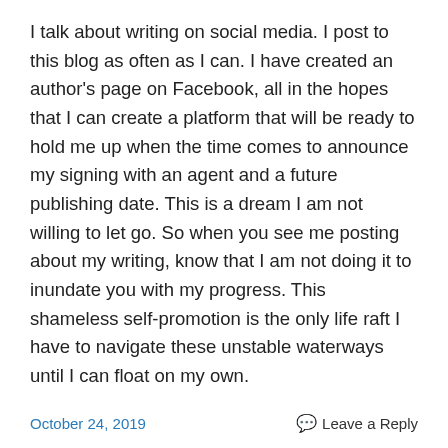I talk about writing on social media. I post to this blog as often as I can. I have created an author's page on Facebook, all in the hopes that I can create a platform that will be ready to hold me up when the time comes to announce my signing with an agent and a future publishing date. This is a dream I am not willing to let go. So when you see me posting about my writing, know that I am not doing it to inundate you with my progress. This shameless self-promotion is the only life raft I have to navigate these unstable waterways until I can float on my own.
October 24, 2019   Leave a Reply
A visit from an Angel